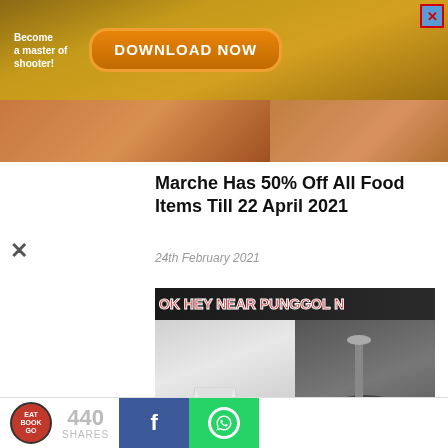[Figure (screenshot): Mobile game advertisement banner with 'Become a master of shooter!' text and 'DOWNLOAD NOW' orange button]
[Figure (screenshot): Partial food images at top of article]
Marche Has 50% Off All Food Items Till 22 April 2021
24th February 2021
[Figure (photo): WOK HEY restaurant promotion image showing food in takeaway box and cooking in wok, with text 'OK HEY NEAR PUNGGOL N']
WOK HEY To Open New Outlet In Waterway Point This December
23rd November 2020
440 SHARES